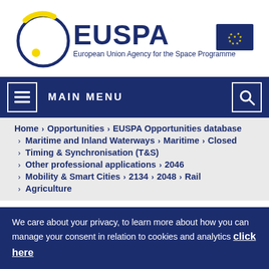[Figure (logo): EUSPA logo — European Union Agency for the Space Programme — with circular blue/yellow orbit graphic on the left and EU flag on the right]
MAIN MENU
Home > Opportunities > EUSPA Opportunities database
> Maritime and Inland Waterways > Maritime > Closed
> Timing & Synchronisation (T&S)
> Other professional applications > 2046
> Mobility & Smart Cities > 2134 > 2048 > Rail
> Agriculture
We care about your privacy, to learn more about how you can manage your consent in relation to cookies and analytics click here